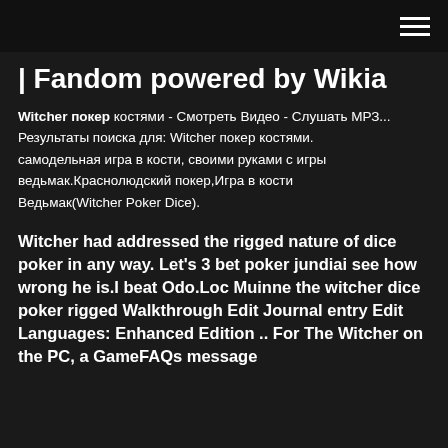☰
| Fandom powered by Wikia
Witcher покер костями - Смотреть Видео - Слушать МРЗ... Результаты поиска для: Witcher покер костями. самодельная игра в кости, своими руками с игры ведьмак.Краснолюдский покер,Игра в кости Ведьмак(Witcher Poker Dice).
Witcher had addressed the rigged nature of dice poker in any way. Let's 3 bet poker jundiai see how wrong he is.I beat Odo.Loc Muinne the witcher dice poker rigged Walkthrough Edit Journal entry Edit Languages: Enhanced Edition .. For The Witcher on the PC, a GameFAQs message